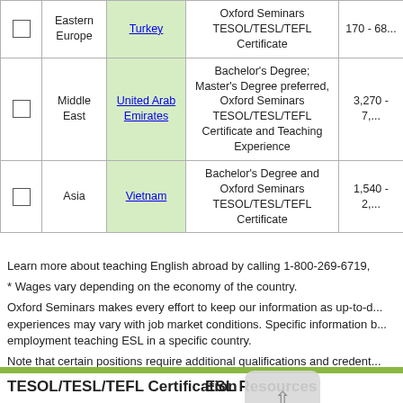|  | Region | Country | Requirements | Wages (USD/month) |
| --- | --- | --- | --- | --- |
| ☐ | Eastern Europe | Turkey | Oxford Seminars TESOL/TESL/TEFL Certificate | 170 - 68... |
| ☐ | Middle East | United Arab Emirates | Bachelor's Degree; Master's Degree preferred, Oxford Seminars TESOL/TESL/TEFL Certificate and Teaching Experience | 3,270 - 7,... |
| ☐ | Asia | Vietnam | Bachelor's Degree and Oxford Seminars TESOL/TESL/TEFL Certificate | 1,540 - 2,... |
Learn more about teaching English abroad by calling 1-800-269-6719,
* Wages vary depending on the economy of the country.
Oxford Seminars makes every effort to keep our information as up-to-d... experiences may vary with job market conditions. Specific information b... employment teaching ESL in a specific country.
Note that certain positions require additional qualifications and credent...
TESOL/TESL/TEFL Certification
ESL Resources
Course Locations and Dates
Course Price
Free Information Sessions
See Where You C...
New to Teaching...
20,000 ESL Jobs